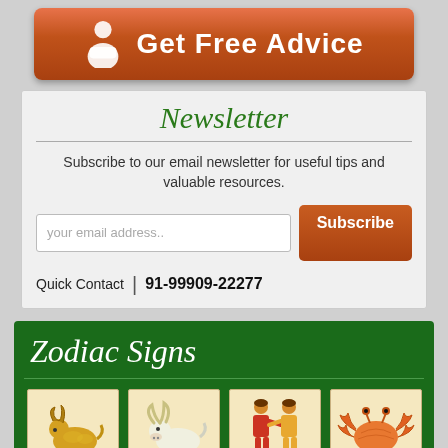[Figure (illustration): Orange 'Get Free Advice' button with person icon]
Newsletter
Subscribe to our email newsletter for useful tips and valuable resources.
your email address..
Subscribe
Quick Contact | 91-99909-22277
Zodiac Signs
[Figure (illustration): Aries zodiac sign image - ram]
Aries
[Figure (illustration): Taurus zodiac sign image - bull]
Taurus
[Figure (illustration): Gemini zodiac sign image - twins]
Gemini
[Figure (illustration): Cancer zodiac sign image - crab]
Cancer